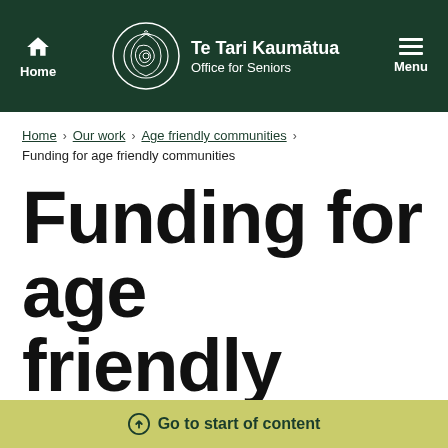Te Tari Kaumātua — Office for Seniors — Home — Menu
Home > Our work > Age friendly communities > Funding for age friendly communities
Funding for age friendly communities
Go to start of content